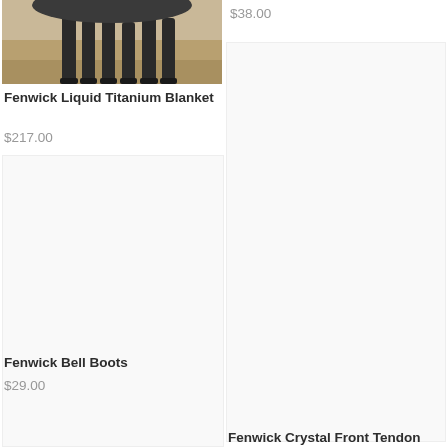[Figure (photo): Partial photo of a horse showing legs on sandy/dirt ground background]
Fenwick Liquid Titanium Blanket
$217.00
$38.00
Fenwick Bell Boots
$29.00
Fenwick Crystal Front Tendon